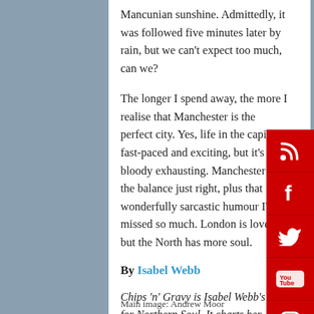Mancunian sunshine. Admittedly, it was followed five minutes later by rain, but we can't expect too much, can we?
The longer I spend away, the more I realise that Manchester is the perfect city. Yes, life in the capital is fast-paced and exciting, but it's also bloody exhausting. Manchester has the balance just right, plus that wonderfully sarcastic humour I've missed so much. London is lovely, but the North has more soul.
By Isabel Webb
Chips 'n' Gravy is Isabel Webb's blog for Northern Soul. It charts her attempts to navigate student life in London and wear her Northern roots proudly on her sleeve.
Main image: Andrew Moor